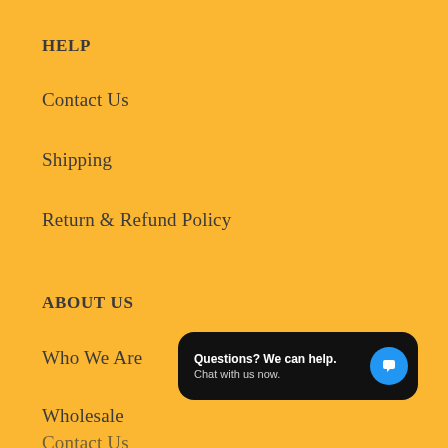HELP
Contact Us
Shipping
Return & Refund Policy
ABOUT US
Who We Are
Wholesale
Contact Us
[Figure (screenshot): Chat widget popup: 'Questions? We can help. Chat with us now.' with a blue chat icon button on dark background.]